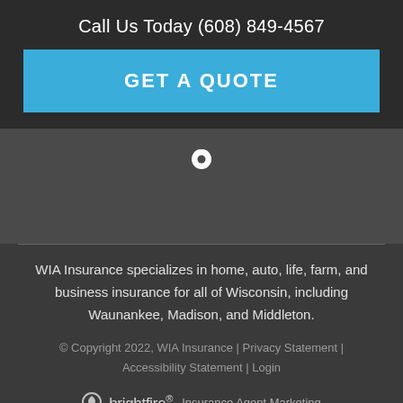Call Us Today (608) 849-4567
GET A QUOTE
[Figure (other): Map location pin icon on dark background]
WIA Insurance specializes in home, auto, life, farm, and business insurance for all of Wisconsin, including Waunankee, Madison, and Middleton.
© Copyright 2022, WIA Insurance | Privacy Statement | Accessibility Statement | Login
brightfire Insurance Agent Marketing